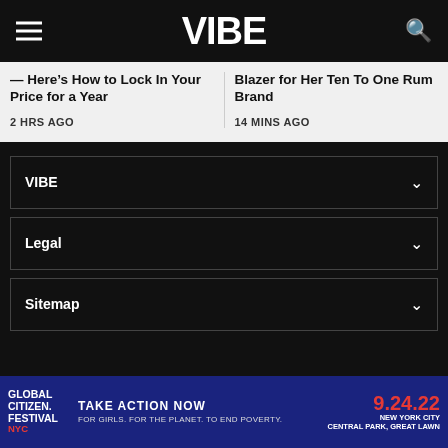VIBE
— Here's How to Lock In Your Price for a Year
2 HRS AGO
Blazer for Her Ten To One Rum Brand
14 MINS AGO
VIBE
Legal
Sitemap
[Figure (other): Global Citizen Festival NYC advertisement banner: TAKE ACTION NOW FOR GIRLS. FOR THE PLANET. TO END POVERTY. 9.24.22 NEW YORK CITY CENTRAL PARK, GREAT LAWN]